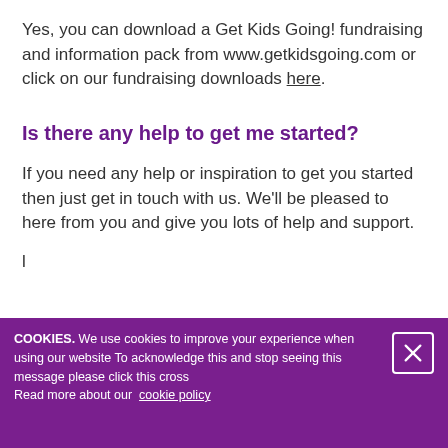Yes, you can download a Get Kids Going! fundraising and information pack from www.getkidsgoing.com or click on our fundraising downloads here.
Is there any help to get me started?
If you need any help or inspiration to get you started then just get in touch with us. We'll be pleased to here from you and give you lots of help and support.
COOKIES. We use cookies to improve your experience when using our website To acknowledge this and stop seeing this message please click this cross
Read more about our cookie policy